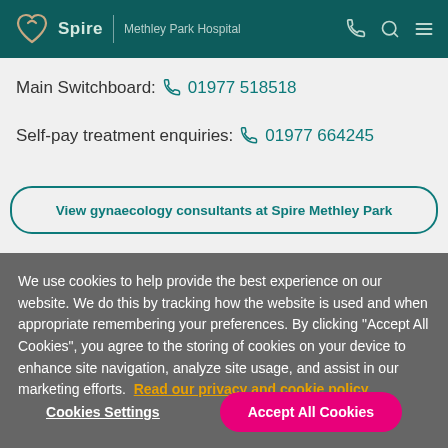Spire | Methley Park Hospital
Main Switchboard: 01977 518518
Self-pay treatment enquiries: 01977 664245
View gynaecology consultants at Spire Methley Park
We use cookies to help provide the best experience on our website. We do this by tracking how the website is used and when appropriate remembering your preferences. By clicking "Accept All Cookies", you agree to the storing of cookies on your device to enhance site navigation, analyze site usage, and assist in our marketing efforts. Read our privacy and cookie policy
Cookies Settings
Accept All Cookies